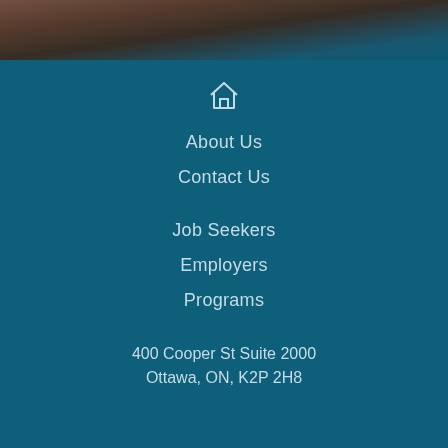[Figure (photo): Partial photo of a person visible at the top of the page, cropped]
🏠 (home icon)
About Us
Contact Us
Job Seekers
Employers
Programs
400 Cooper St Suite 2000
Ottawa, ON, K2P 2H8